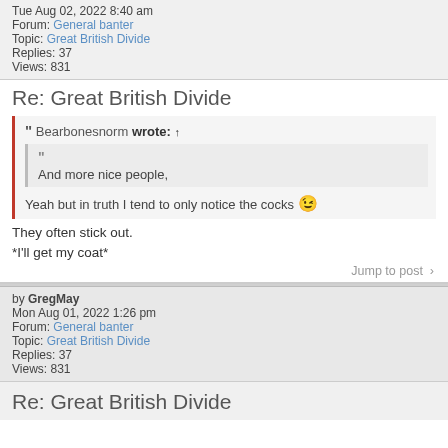Tue Aug 02, 2022 8:40 am
Forum: General banter
Topic: Great British Divide
Replies: 37
Views: 831
Re: Great British Divide
Bearbonesnorm wrote: ↑
[quote] And more nice people,
Yeah but in truth I tend to only notice the cocks 😉
They often stick out.

*I'll get my coat*
Jump to post >
by GregMay
Mon Aug 01, 2022 1:26 pm
Forum: General banter
Topic: Great British Divide
Replies: 37
Views: 831
Re: Great British Divide